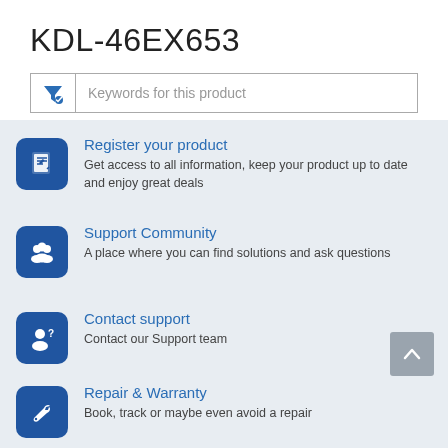KDL-46EX653
Keywords for this product
Register your product - Get access to all information, keep your product up to date and enjoy great deals
Support Community - A place where you can find solutions and ask questions
Contact support - Contact our Support team
Repair & Warranty - Book, track or maybe even avoid a repair